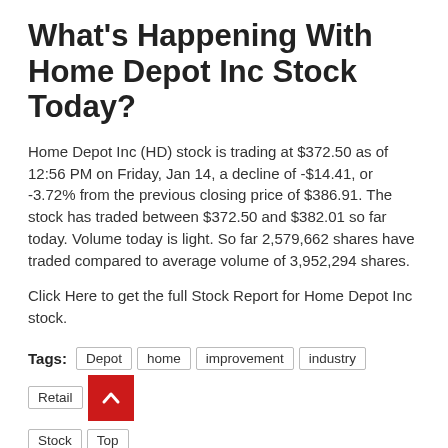What's Happening With Home Depot Inc Stock Today?
Home Depot Inc (HD) stock is trading at $372.50 as of 12:56 PM on Friday, Jan 14, a decline of -$14.41, or -3.72% from the previous closing price of $386.91. The stock has traded between $372.50 and $382.01 so far today. Volume today is light. So far 2,579,662 shares have traded compared to average volume of 3,952,294 shares.
Click Here to get the full Stock Report for Home Depot Inc stock.
Tags: Depot  home  improvement  industry  Retail  Stock  Top
Previous:
City of Parkersburg accepting applications for